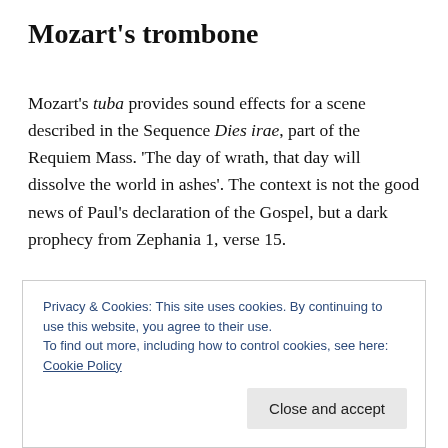Mozart's trombone
Mozart's tuba provides sound effects for a scene described in the Sequence Dies irae, part of the Requiem Mass. ‘The day of wrath, that day will dissolve the world in ashes’. The context is not the good news of Paul’s declaration of the Gospel, but a dark prophecy from Zephania 1, verse 15.
Privacy & Cookies: This site uses cookies. By continuing to use this website, you agree to their use.
To find out more, including how to control cookies, see here: Cookie Policy
Close and accept